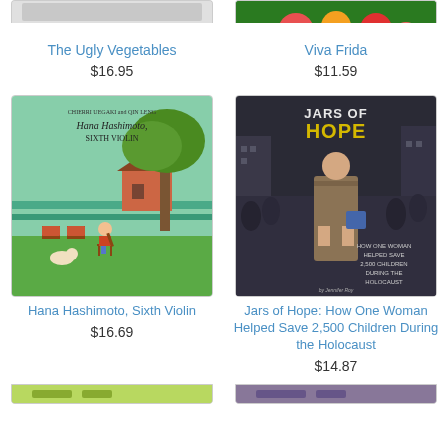[Figure (photo): Partial/cropped top of book cover for The Ugly Vegetables]
The Ugly Vegetables
$16.95
[Figure (photo): Partial/cropped top of book cover for Viva Frida with colorful flowers]
Viva Frida
$11.59
[Figure (photo): Book cover: Hana Hashimoto, Sixth Violin - illustration of a girl playing violin under a tree]
Hana Hashimoto, Sixth Violin
$16.69
[Figure (photo): Book cover: Jars of Hope: How One Woman Helped Save 2,500 Children During the Holocaust - dark illustration of a woman walking in a crowd]
Jars of Hope: How One Woman Helped Save 2,500 Children During the Holocaust
$14.87
[Figure (photo): Partial/cropped bottom of another book cover, colorful green]
[Figure (photo): Partial/cropped bottom of another book cover]